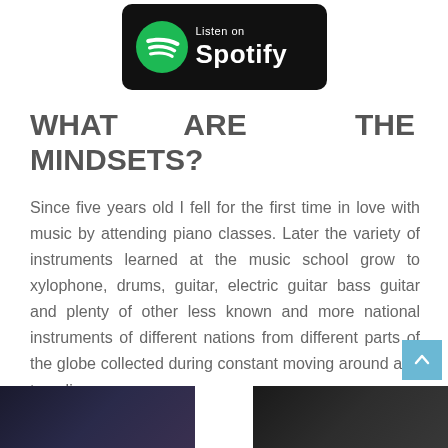[Figure (logo): Listen on Spotify badge — black rounded rectangle with green Spotify logo on left and white text 'Listen on Spotify' on right]
WHAT ARE THE MINDSETS?
Since five years old I fell for the first time in love with music by attending piano classes. Later the variety of instruments learned at the music school grow to xylophone, drums, guitar, electric guitar bass guitar and plenty of other less known and more national instruments of different nations from different parts of the globe collected during constant moving around and traveling.
[Figure (photo): Two partial photos side by side at the bottom of the page, left shows a dark blue/purple toned image, right shows a dark toned image]
[Figure (other): Back to top button — light blue square with white upward-pointing chevron arrow]